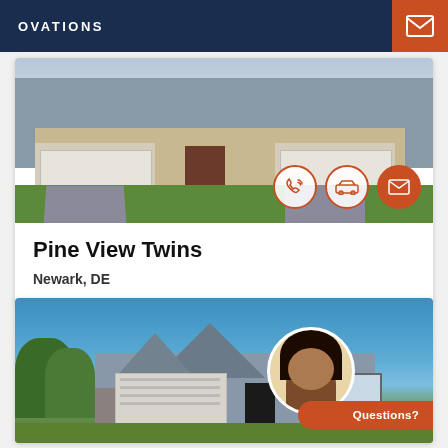OVATIONS
[Figure (photo): Exterior rendering of Pine View Twins duplex home with two-car garages and landscaped front yard. Three action icons (phone, car, email) overlaid at bottom right.]
Pine View Twins
Newark, DE
[Figure (photo): Exterior photo of a single-family craftsman-style home with gray siding, stone accents, covered porch, and two-car garage under blue sky. Agent avatar and 'Questions?' button overlaid at bottom right.]